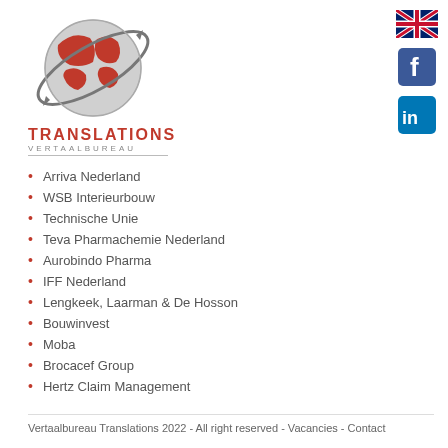[Figure (logo): Globe with arrows logo for Translations Vertaalbureau]
TRANSLATIONS
VERTAALBUREAU
[Figure (illustration): UK flag icon]
[Figure (illustration): Facebook icon]
[Figure (illustration): LinkedIn icon]
Arriva Nederland
WSB Interieurbouw
Technische Unie
Teva Pharmachemie Nederland
Aurobindo Pharma
IFF Nederland
Lengkeek, Laarman & De Hosson
Bouwinvest
Moba
Brocacef Group
Hertz Claim Management
Vertaalbureau Translations 2022 - All right reserved - Vacancies - Contact